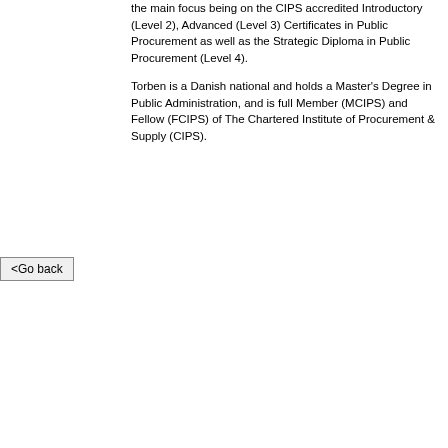the main focus being on the CIPS accredited Introductory (Level 2), Advanced (Level 3) Certificates in Public Procurement as well as the Strategic Diploma in Public Procurement (Level 4).
Torben is a Danish national and holds a Master's Degree in Public Administration, and is full Member (MCIPS) and Fellow (FCIPS) of The Chartered Institute of Procurement & Supply (CIPS).
<Go back